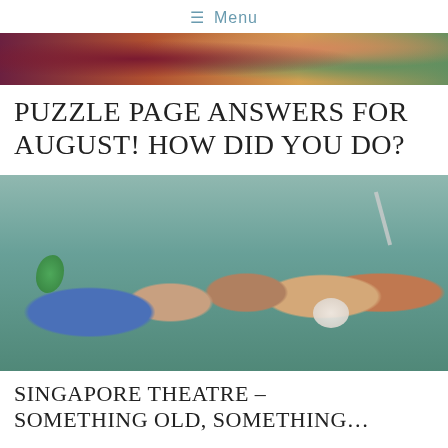≡ Menu
[Figure (photo): Partial photo at top showing people, cropped — only the upper portion of a lifestyle/entertainment image is visible]
PUZZLE PAGE ANSWERS FOR AUGUST! HOW DID YOU DO?
[Figure (photo): Group of five people standing in water (flood/sea scene): a man in blue holding a potted plant, a woman in pink holding a book, a man playing guitar, a woman in light top holding a white fluffy dog, and a man in mauve holding a selfie stick making peace sign]
SINGAPORE THEATRE – SOMETHING OLD, SOMETHING…